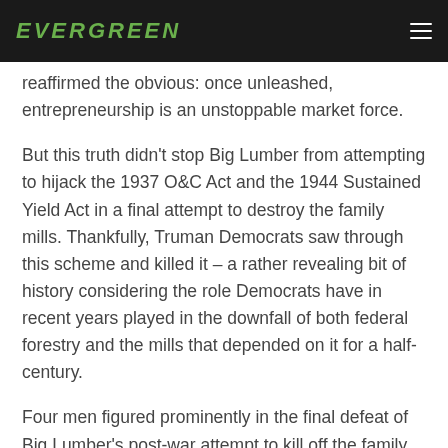EVERGREEN
reaffirmed the obvious: once unleashed, entrepreneurship is an unstoppable market force.
But this truth didn't stop Big Lumber from attempting to hijack the 1937 O&C Act and the 1944 Sustained Yield Act in a final attempt to destroy the family mills. Thankfully, Truman Democrats saw through this scheme and killed it – a rather revealing bit of history considering the role Democrats have in recent years played in the downfall of both federal forestry and the mills that depended on it for a half-century.
Four men figured prominently in the final defeat of Big Lumber's post-war attempt to kill off the family mills. O&C and President...